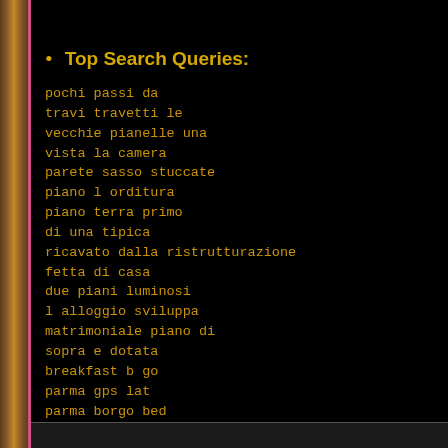Top Search Queries:
pochi passi da
travi travetti le
vecchie pianelle una
vista la camera
parete sasso stuccate
piano l orditura
piano terra primo
di una tipica
ricavato dalla ristrutturazione
fetta di casa
due piani luminosi
l alloggio sviluppa
matrimoniale piano di
sopra e dotata
breakfast b go
parma gps lat
parma borgo bed
finestra vostro arrivo
di bagno interno
saremo disposizione darvi